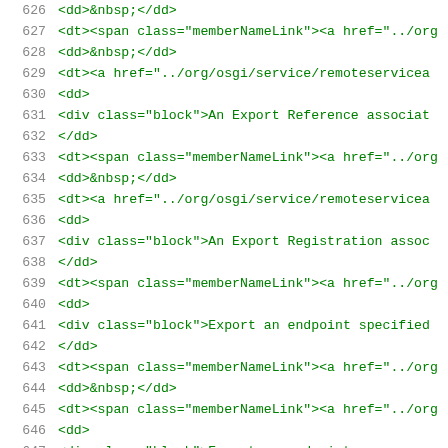626  <dd>&nbsp;</dd>
627  <dt><span class="memberNameLink"><a href="../org...
628  <dd>&nbsp;</dd>
629  <dt><a href="../org/osgi/service/remoteservicea...
630  <dd>
631  <div class="block">An Export Reference associat...
632  </dd>
633  <dt><span class="memberNameLink"><a href="../org...
634  <dd>&nbsp;</dd>
635  <dt><a href="../org/osgi/service/remoteservicea...
636  <dd>
637  <div class="block">An Export Registration assoc...
638  </dd>
639  <dt><span class="memberNameLink"><a href="../org...
640  <dd>
641  <div class="block">Export an endpoint specified...
642  </dd>
643  <dt><span class="memberNameLink"><a href="../org...
644  <dd>&nbsp;</dd>
645  <dt><span class="memberNameLink"><a href="../org...
646  <dd>
647  <div class="block">Export an endpoint...